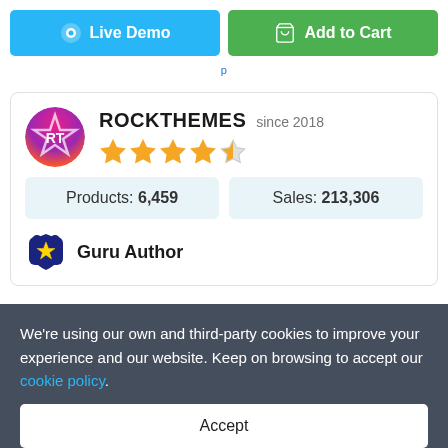[Figure (other): Live Demo button (blue) and Add to Cart button (green) side by side at the top]
... page tag ... p
[Figure (other): Author card showing ROCKTHEMES logo, name, since 2018, 4.5 star rating, Products: 6,459, Sales: 213,306, and Guru Author badge]
We're using our own and third-party cookies to improve your experience and our website. Keep on browsing to accept our cookie policy.
Accept